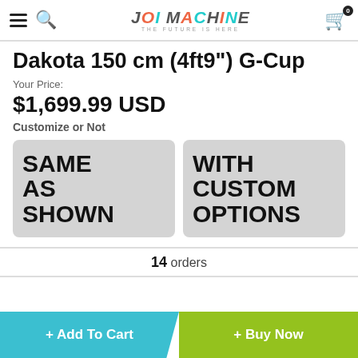JOI MACHINE — THE FUTURE IS HERE
Dakota 150 cm (4ft9") G-Cup
Your Price:
$1,699.99 USD
Customize or Not
SAME AS SHOWN
WITH CUSTOM OPTIONS
14 orders
+ Add To Cart  + Buy Now